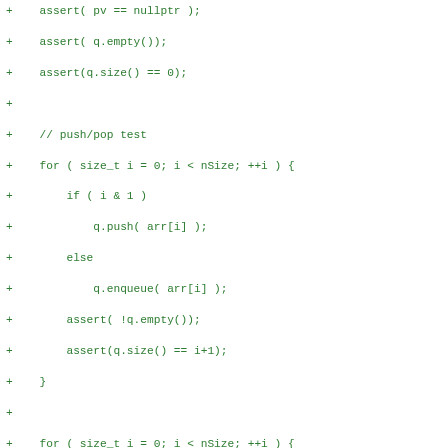[Figure (screenshot): Code diff snippet showing C++ unit test code for a Queue data structure, with lines prefixed by '+' in green monospace font on white background. Tests include push/pop, enqueue/dequeue, assert statements for empty/size checks, and gc::scan.]